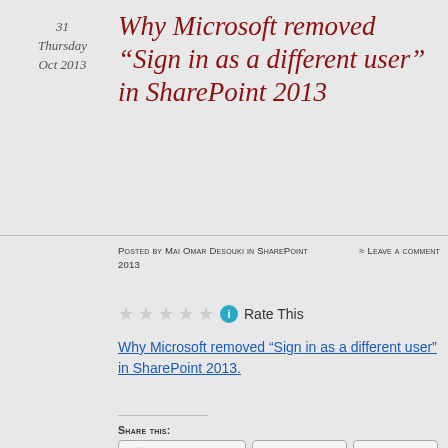31
Thursday
Oct 2013
Why Microsoft removed “Sign in as a different user” in SharePoint 2013
Posted by Mai Omar Desouki in SharePoint 2013
≈ Leave a comment
Rate This
Why Microsoft removed “Sign in as a different user” in SharePoint 2013.
Share this:
Facebook  LinkedIn  Twitter